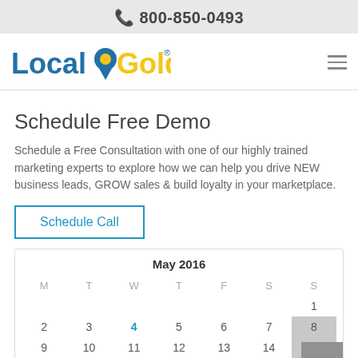📞 800-850-0493
[Figure (logo): LocalGold logo with map pin and hamburger menu icon]
Schedule Free Demo
Schedule a Free Consultation with one of our highly trained marketing experts to explore how we can help you drive NEW business leads, GROW sales & build loyalty in your marketplace.
Schedule Call
| M | T | W | T | F | S | S |
| --- | --- | --- | --- | --- | --- | --- |
|  |  |  |  |  |  | 1 |
| 2 | 3 | 4 | 5 | 6 | 7 | 8 |
| 9 | 10 | 11 | 12 | 13 | 14 | 15 |
| 16 | 17 | 18 | 19 | 20 | 21 | 22 |